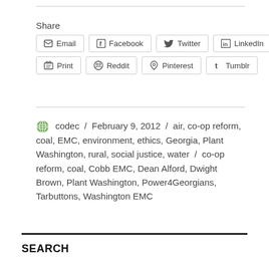Share
Email | Facebook | Twitter | LinkedIn | Print | Reddit | Pinterest | Tumblr
codec / February 9, 2012 / air, co-op reform, coal, EMC, environment, ethics, Georgia, Plant Washington, rural, social justice, water / co-op reform, coal, Cobb EMC, Dean Alford, Dwight Brown, Plant Washington, Power4Georgians, Tarbuttons, Washington EMC
SEARCH